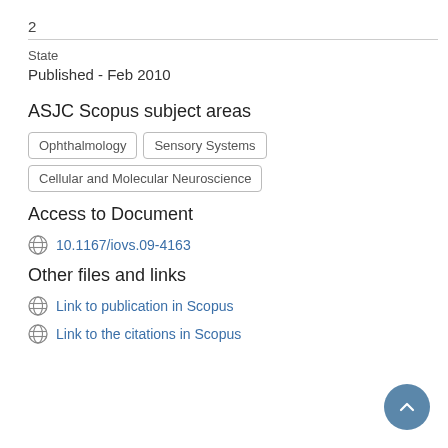2
State
Published - Feb 2010
ASJC Scopus subject areas
Ophthalmology
Sensory Systems
Cellular and Molecular Neuroscience
Access to Document
10.1167/iovs.09-4163
Other files and links
Link to publication in Scopus
Link to the citations in Scopus